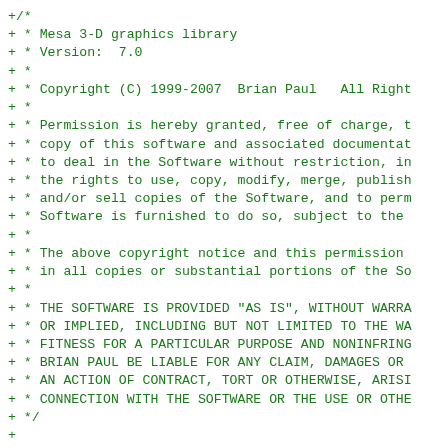+/*
+ * Mesa 3-D graphics library
+ * Version:  7.0
+ *
+ * Copyright (C) 1999-2007  Brian Paul   All Right
+ *
+ * Permission is hereby granted, free of charge, t
+ * copy of this software and associated documentat
+ * to deal in the Software without restriction, in
+ * the rights to use, copy, modify, merge, publish
+ * and/or sell copies of the Software, and to perm
+ * Software is furnished to do so, subject to the
+ *
+ * The above copyright notice and this permission
+ * in all copies or substantial portions of the So
+ *
+ * THE SOFTWARE IS PROVIDED "AS IS", WITHOUT WARRA
+ * OR IMPLIED, INCLUDING BUT NOT LIMITED TO THE WA
+ * FITNESS FOR A PARTICULAR PURPOSE AND NONINFRING
+ * BRIAN PAUL BE LIABLE FOR ANY CLAIM, DAMAGES OR
+ * AN ACTION OF CONTRACT, TORT OR OTHERWISE, ARISI
+ * CONNECTION WITH THE SOFTWARE OR THE USE OR OTHE
+ */
+
+/*
+** Copyright (c) 2007 The Khronos Group Inc.
+**
+** Permission is hereby granted, free of charge, t
+** copy of this software and/or associated documen
+** "Materials"), to deal in the Materials without